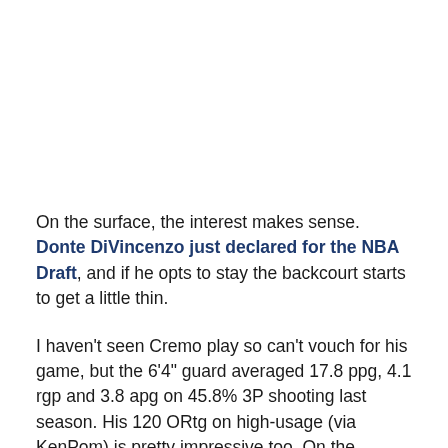On the surface, the interest makes sense. Donte DiVincenzo just declared for the NBA Draft, and if he opts to stay the backcourt starts to get a little thin.
I haven't seen Cremo play so can't vouch for his game, but the 6'4" guard averaged 17.8 ppg, 4.1 rgp and 3.8 apg on 45.8% 3P shooting last season. His 120 ORtg on high-usage (via KenPom) is pretty impressive too. On the surface, he's a piece that could plug in and help